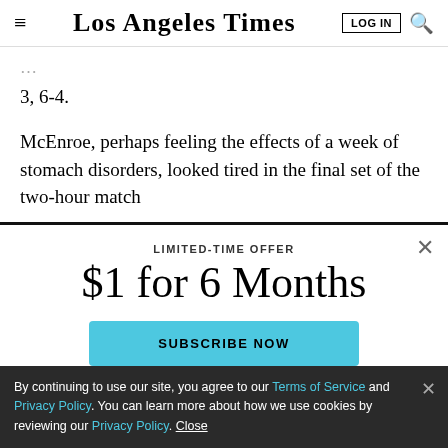Los Angeles Times | LOG IN | Search
3, 6-4.
McEnroe, perhaps feeling the effects of a week of stomach disorders, looked tired in the final set of the two-hour match
LIMITED-TIME OFFER
$1 for 6 Months
SUBSCRIBE NOW
By continuing to use our site, you agree to our Terms of Service and Privacy Policy. You can learn more about how we use cookies by reviewing our Privacy Policy. Close